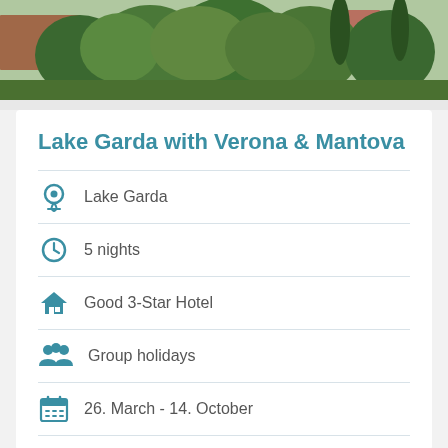[Figure (photo): Landscape photo showing trees and buildings in the background, green foliage, Lake Garda area scenery]
Lake Garda with Verona & Mantova
Lake Garda
5 nights
Good 3-Star Hotel
Group holidays
26. March - 14. October
All offers